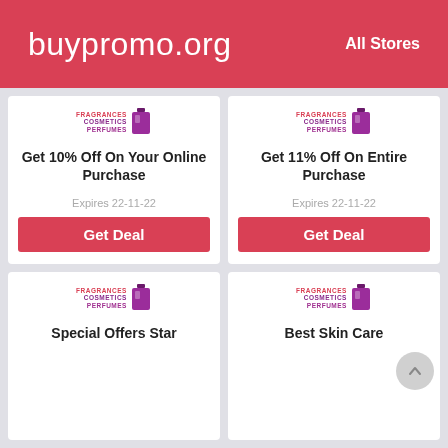buypromo.org   All Stores
[Figure (logo): Fragrances Cosmetics Perfumes brand logo with purple perfume bottle icon]
Get 10% Off On Your Online Purchase
Expires 22-11-22
Get Deal
[Figure (logo): Fragrances Cosmetics Perfumes brand logo with purple perfume bottle icon]
Get 11% Off On Entire Purchase
Expires 22-11-22
Get Deal
[Figure (logo): Fragrances Cosmetics Perfumes brand logo with purple perfume bottle icon]
Special Offers Star
[Figure (logo): Fragrances Cosmetics Perfumes brand logo with purple perfume bottle icon]
Best Skin Care